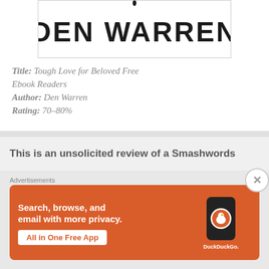[Figure (illustration): Book cover showing author name DEN WARREN in large bold graffiti-style text on white background]
Title: Tough Love for Beloved Free Ebook Readers
Author: Den Warren
Rating: 70-80%
This is an unsolicited review of a Smashwords
Advertisements
[Figure (screenshot): DuckDuckGo advertisement banner with orange background. Text: Search, browse, and email with more privacy. All in One Free App. Shows phone with DuckDuckGo logo.]